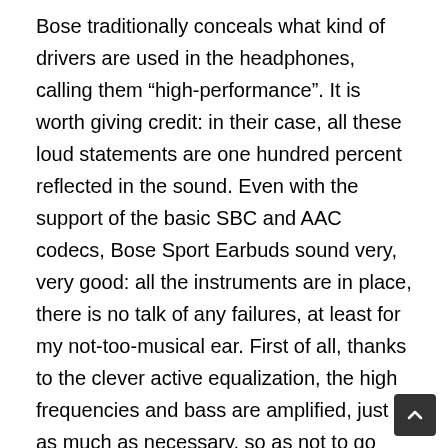Bose traditionally conceals what kind of drivers are used in the headphones, calling them “high-performance”. It is worth giving credit: in their case, all these loud statements are one hundred percent reflected in the sound. Even with the support of the basic SBC and AAC codecs, Bose Sport Earbuds sound very, very good: all the instruments are in place, there is no talk of any failures, at least for my not-too-musical ear. First of all, thanks to the clever active equalization, the high frequencies and bass are amplified, just as much as necessary, so as not to go into “prying” and / or “booming”. The in-ear fit in combination with the already mentioned nozzles gives volume to the sound and also works out in passive noise cutoff. The maximum volume is excessive even for the street, in which the absence of active noise cancellation immediately affects, which is expected for a sports model. I noticed that every time I